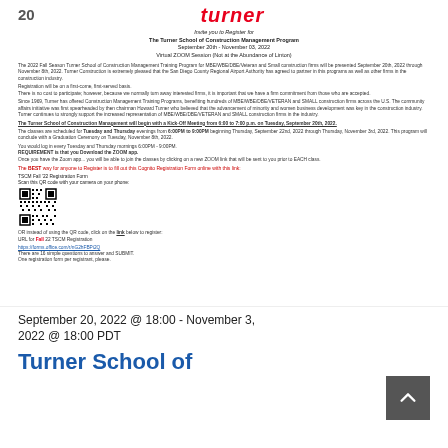20
turner
Invite you to Register for
The Turner School of Construction Management Program
September 20th - November 03, 2022
Virtual ZOOM Session (Not at the Abundance of Linton)
The 2022 Fall Season Turner School of Construction Management Training Program for MBE/WBE/DBE/Veteran and Small construction firms will be presented September 20th, 2022 through November 8th, 2022. Turner Construction is extremely pleased that the San Diego County Regional Airport Authority has agreed to partner in this programs as well as other firms in the construction industry.
Registration will be on a first-come, first-served basis.
There is no cost to participate; however, because we normally turn away interested firms, it is important that we have a firm commitment from those who are accepted.
Since 1969, Turner has offered Construction Management Training Programs, benefiting hundreds of MBE/WBE/DBE/VETERAN and SMALL construction firms across the U.S. The community affairs initiative was first spearheaded by then chairman Howard Turner who believed that the advancement of minority and women business development was key in the construction industry. Turner continues to strongly support the increased representation of MBE/WBE/DBE/VETERAN and SMALL construction firms in the industry.
The Turner School of Construction Management will begin with a Kick-Off Meeting from 6:00 to 7:00 p.m. on Tuesday, September 20th, 2022.
The classes are scheduled for Tuesday and Thursday evenings from 6:00PM to 9:00PM beginning Thursday, September 22nd, 2022 through Thursday, November 3rd, 2022. This program will conclude with a Graduation Ceremony on Tuesday, November 8th, 2022.
You would log in every Tuesday and Thursday mornings 6:00PM - 9:00PM.
REQUIREMENT is that you Download the ZOOM app.
Once you have the Zoom app... you will be able to join the classes by clicking on a new ZOOM link that will be sent to you prior to EACH class.
The BEST way for anyone to Register is to fill out this Cognito Registration Form online with this link:
TSCM Fall '22 Registration Form
Scan this QR code with your camera on your phone:
[Figure (other): QR code for TSCM Fall 2022 Registration]
OR instead of using the QR code, click on the link below to register:
URL for Fall 22 TSCM Registration
https://forms.office.com/r/nG2hFBPi2Q
There are 16 simple questions to answer and SUBMIT.
One registration form per registrant, please.
September 20, 2022 @ 18:00 - November 3, 2022 @ 18:00 PDT
Turner School of